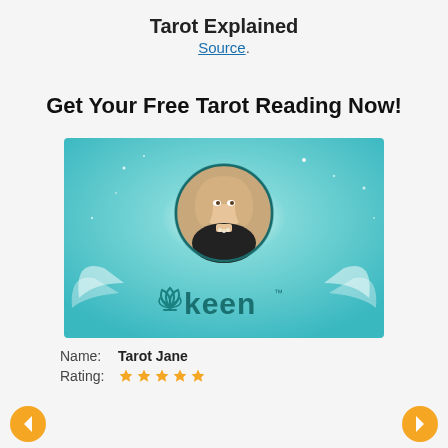Tarot Explained
Source.
Get Your Free Tarot Reading Now!
[Figure (photo): Keen psychic reading advertisement featuring a woman with blonde hair in a circular portrait against a teal/turquoise mystical background with the Keen logo and lotus flower icon below.]
Name: Tarot Jane
Rating: ★★★★★